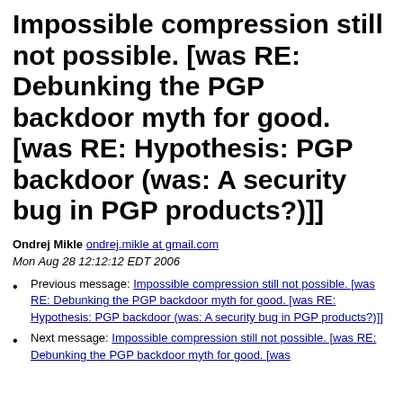Impossible compression still not possible. [was RE: Debunking the PGP backdoor myth for good. [was RE: Hypothesis: PGP backdoor (was: A security bug in PGP products?)]]
Ondrej Mikle ondrej.mikle at gmail.com
Mon Aug 28 12:12:12 EDT 2006
Previous message: Impossible compression still not possible. [was RE: Debunking the PGP backdoor myth for good. [was RE: Hypothesis: PGP backdoor (was: A security bug in PGP products?)]]
Next message: Impossible compression still not possible. [was RE: Debunking the PGP backdoor myth for good. [was